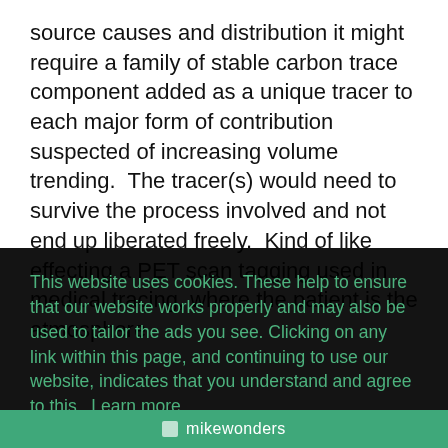source causes and distribution it might require a family of stable carbon trace component added as a unique tracer to each major form of contribution suspected of increasing volume trending.  The tracer(s) would need to survive the process involved and not end up liberated freely.  Kind of like effecting a PET scan tagging used in medical tracing, where the patient is the atmosphere
This website uses cookies. These help to ensure that our website works properly and may also be used to tailor the ads you see. Clicking on any link within this page, and continuing to use our website, indicates that you understand and agree to this.  Learn more
Got it!
mikewonders